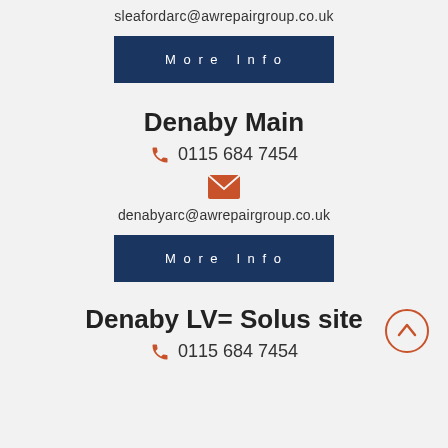sleafordarc@awrepairgroup.co.uk
More Info
Denaby Main
0115 684 7454
denabyarc@awrepairgroup.co.uk
More Info
Denaby LV= Solus site
0115 684 7454